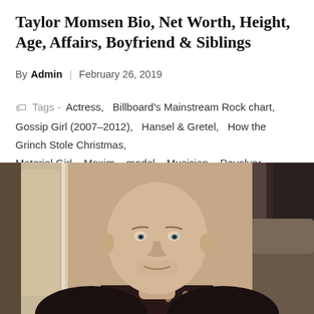Taylor Momsen Bio, Net Worth, Height, Age, Affairs, Boyfriend & Siblings
By Admin | February 26, 2019
Tags - Actress, Billboard's Mainstream Rock chart, Gossip Girl (2007–2012), Hansel & Gretel, How the Grinch Stole Christmas, Material Girl, Maxim, model, Musician, Revolver, Seventeen, Singe, Spy Kids 2, The Pretty Reckless, Underdog (2007), Who You Selling For,
[Figure (photo): A bald man wearing a floral patterned shirt, seated indoors, looking at the camera with a slight smile.]